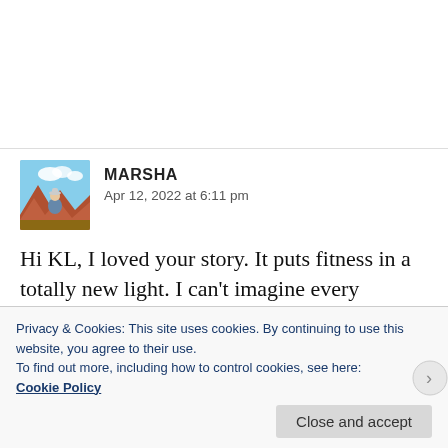[Figure (photo): Avatar photo of Marsha, showing a person outdoors with red rock formations and blue sky in background]
MARSHA
Apr 12, 2022 at 6:11 pm
Hi KL, I loved your story. It puts fitness in a totally new light. I can't imagine every posing, like Nope, Not Pam, I was way too self-conscious, which is also somewhat self-centered. I'm also not too
Privacy & Cookies: This site uses cookies. By continuing to use this website, you agree to their use.
To find out more, including how to control cookies, see here:
Cookie Policy
Close and accept